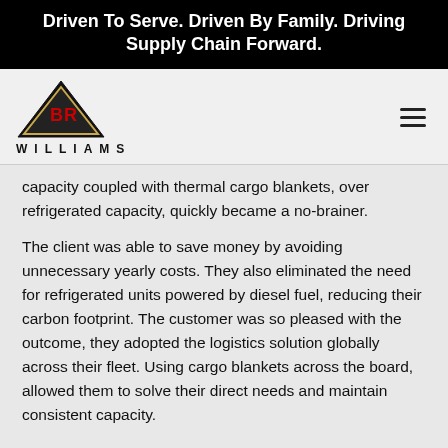Driven To Serve. Driven By Family. Driving Supply Chain Forward.
[Figure (logo): BR Williams logo — black triangle with BR in red/gold, text WILLIAMS below in spaced capitals]
capacity coupled with thermal cargo blankets, over refrigerated capacity, quickly became a no-brainer.
The client was able to save money by avoiding unnecessary yearly costs. They also eliminated the need for refrigerated units powered by diesel fuel, reducing their carbon footprint. The customer was so pleased with the outcome, they adopted the logistics solution globally across their fleet. Using cargo blankets across the board, allowed them to solve their direct needs and maintain consistent capacity.